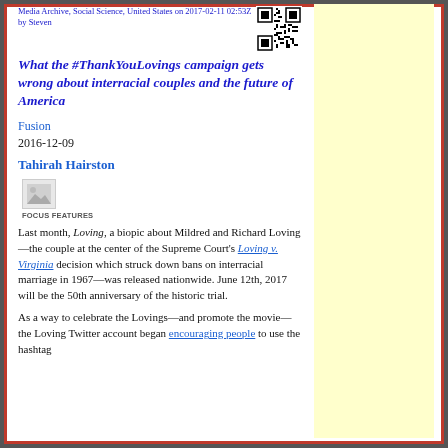Media Archive, Social Science, United States on 2017-02-11 02:53Z by Steven
What the #ThankYouLovings campaign gets wrong about interracial couples and the future of America
Fusion
2016-12-09
Tahirah Hairston
[Figure (photo): Small broken/placeholder image thumbnail]
FOCUS FEATURES
Last month, Loving, a biopic about Mildred and Richard Loving—the couple at the center of the Supreme Court's Loving v. Virginia decision which struck down bans on interracial marriage in 1967—was released nationwide. June 12th, 2017 will be the 50th anniversary of the historic trial.
As a way to celebrate the Lovings—and promote the movie—the Loving Twitter account began encouraging people to use the hashtag